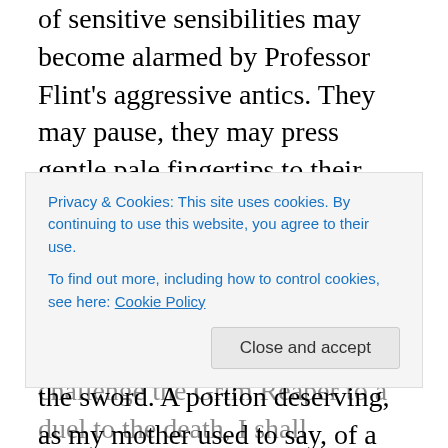of sensitive sensibilities may become alarmed by Professor Flint's aggressive antics. They may pause, they may press gentle pale fingertips to their pale throats, they may wonder if the next mystery will be too much for them to bear. It is for this portion of the audience that my father sheaths the sword. A portion deserving, as my mother used to say, of a performer's special courtesy. A portion endowed themselves with the power of trembling lips, of fluttering eyelashes, of little cries of joy or alarm, of those gentle pale fingertips just as she, my mother, was so amply
Privacy & Cookies: This site uses cookies. By continuing to use this website, you agree to their use. To find out more, including how to control cookies, see here: Cookie Policy
challenge the Grim Reaper to a duel to the death, I shall